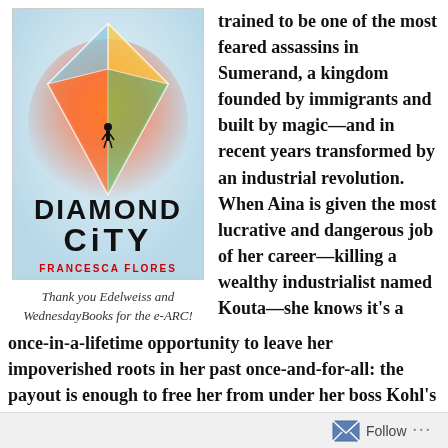[Figure (illustration): Book cover of 'Diamond City' by Francesca Flores, featuring a colorful diamond with a figure inside and the title in large black text on a vibrant background.]
Thank you Edelweiss and WednesdayBooks for the e-ARC!
trained to be one of the most feared assassins in Sumerand, a kingdom founded by immigrants and built by magic—and in recent years transformed by an industrial revolution. When Aina is given the most lucrative and dangerous job of her career—killing a wealthy industrialist named Kouta—she knows it's a once-in-a-lifetime opportunity to leave her impoverished roots in her past once-and-for-all: the payout is enough to free her from under her boss Kohl's thumb. But when the job goes wrong and Kouta